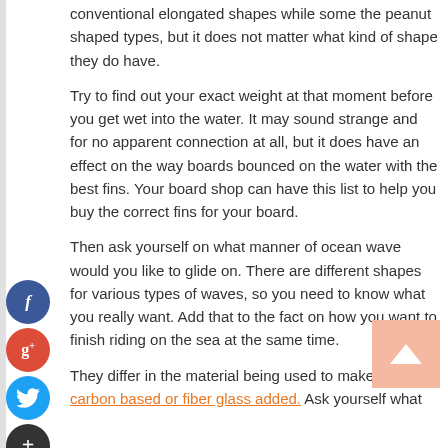conventional elongated shapes while some the peanut shaped types, but it does not matter what kind of shape they do have.
Try to find out your exact weight at that moment before you get wet into the water. It may sound strange and for no apparent connection at all, but it does have an effect on the way boards bounced on the water with the best fins. Your board shop can have this list to help you buy the correct fins for your board.
Then ask yourself on what manner of ocean wave would you like to glide on. There are different shapes for various types of waves, so you need to know what you really want. Add that to the fact on how you want to finish riding on the sea at the same time.
They differ in the material being used to make it, like carbon based or fiber glass added. Ask yourself what